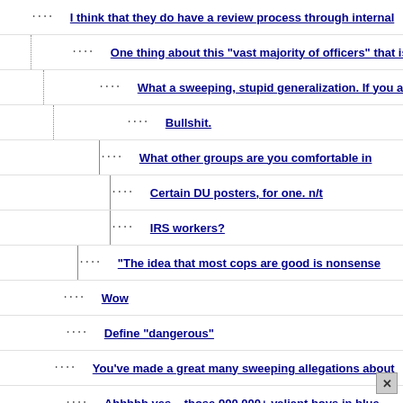I think that they do have a review process through internal
One thing about this "vast majority of officers" that isn't
What a sweeping, stupid generalization. If you are a
Bullshit.
What other groups are you comfortable in
Certain DU posters, for one. n/t
IRS workers?
"The idea that most cops are good is nonsense
Wow
Define "dangerous"
You've made a great many sweeping allegations about
Ahhhhh yes....those 900,000+ valiant boys in blue.
You are free to disagree with my purported
Go ahead and wait.
thank you
+1
probably will get worse as our society has imprisoned so many
I would add that the criminals have to change also. nt
what criminals? Of course people should know it's not right to
Killings of Police Officers is Way Down Under Obama